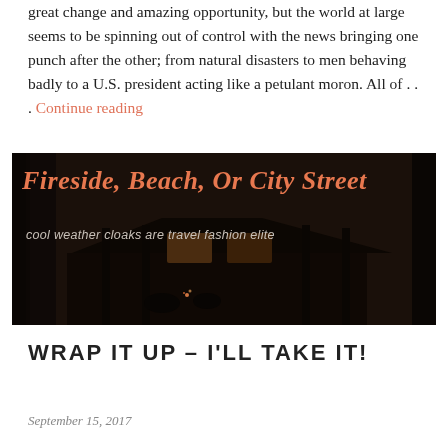great change and amazing opportunity, but the world at large seems to be spinning out of control with the news bringing one punch after the other; from natural disasters to men behaving badly to a U.S. president acting like a petulant moron. All of . . . Continue reading
[Figure (photo): Dark atmospheric banner image of a cabin/lodge at night with people sitting by a fire. Overlaid text reads 'Fireside, Beach, Or City Street' in orange cursive script and 'cool weather cloaks are travel fashion elite' in lighter italic text.]
WRAP IT UP – I'LL TAKE IT!
September 15, 2017